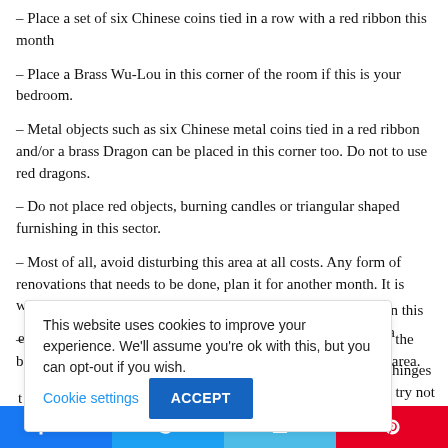– Place a set of six Chinese coins tied in a row with a red ribbon this month
– Place a Brass Wu-Lou in this corner of the room if this is your bedroom.
– Metal objects such as six Chinese metal coins tied in a red ribbon and/or a brass Dragon can be placed in this corner too. Do not to use red dragons.
– Do not place red objects, burning candles or triangular shaped furnishing in this sector.
– Most of all, avoid disturbing this area at all costs. Any form of renovations that needs to be done, plan it for another month. It is worth keeping this in mind.
– A Pi Yao in gold colour is very effective at not only reducing the bad earth but also protecting your wealth for the month in this area.
or in this area
e
the hinges and try not
t
r vibration try and
This website uses cookies to improve your experience. We'll assume you're ok with this, but you can opt-out if you wish.
Cookie settings   ACCEPT
[Figure (other): Social share bar with Facebook (167), Twitter, Email, and Pinterest buttons]